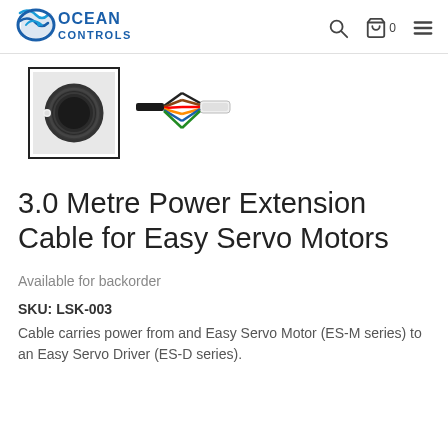Ocean Controls
[Figure (photo): Two product photos: left shows a coiled black cable with connector, right shows the cable ends with color-coded wires and connectors]
3.0 Metre Power Extension Cable for Easy Servo Motors
Available for backorder
SKU: LSK-003
Cable carries power from and Easy Servo Motor (ES-M series) to an Easy Servo Driver (ES-D series).